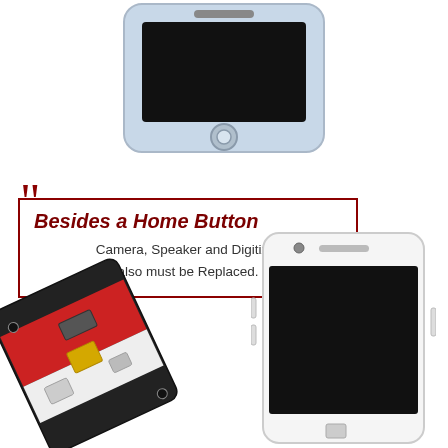[Figure (illustration): Top-down view of an iPhone screen assembly (white/light blue) showing black display area and circular home button at bottom, no cables]
Besides a Home Button
Camera, Speaker and Digitizer also must be Replaced.
[Figure (illustration): Bottom-left: rear/back of an iPhone LCD assembly showing red and white flex cables, connector, and components visible from the back side]
[Figure (illustration): Bottom-right: front view of a complete iPhone LCD assembly (white) showing speaker grille, front camera, and black display screen with flex cable at bottom right]